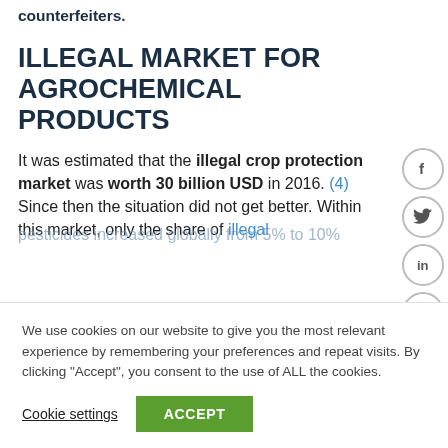counterfeiters.
ILLEGAL MARKET FOR AGROCHEMICAL PRODUCTS
It was estimated that the illegal crop protection market was worth 30 billion USD in 2016. (4) Since then the situation did not get better. Within this market, only the share of illegal pesticides increased globally from 5% to 10%
We use cookies on our website to give you the most relevant experience by remembering your preferences and repeat visits. By clicking "Accept", you consent to the use of ALL the cookies.